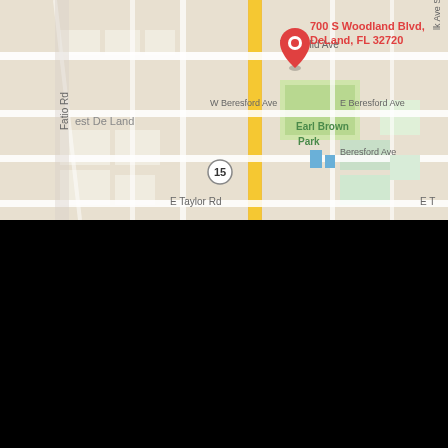[Figure (map): Google Maps screenshot showing 700 S Woodland Blvd, DeLand, FL 32720 with a red location pin. Map shows surrounding streets including W Euclid Ave, Beresford Ave, E Taylor Rd, De Land Southwest area, Earl Brown Park, and route 15.]
Contact Us
386-873-6505
700 S Woodland Blvd
DeLand, FL 32720
[Figure (logo): CarGurus logo with TOP RATED badge. 'Car' in red and 'Gurus' in blue with registered trademark symbol. Below is a cyan/blue rounded rectangle badge with 'TOP RATED' in dark italic bold text.]